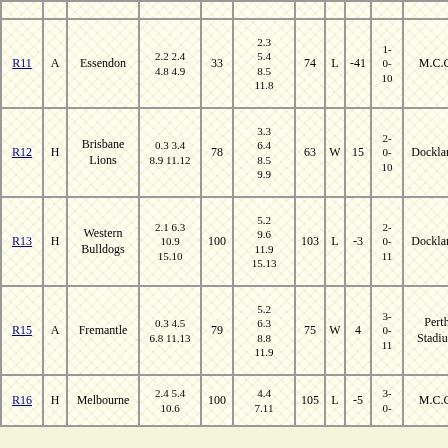| Round | H/A | Opponent | Our Score | Our Pts | Opp Score | Opp Pts | W/L | Margin | Record | Venue | ... |
| --- | --- | --- | --- | --- | --- | --- | --- | --- | --- | --- | --- |
| R11 | A | Essendon | 2.2 2.4 4.8 4.9 | 33 | 2.3 5.4 8.5 11.8 | 74 | L | -41 | 1-0-10 | M.C.G. | 50 |
| R12 | H | Brisbane Lions | 0.3 3.4 8.9 11.12 | 78 | 3.3 6.4 8.5 9.9 | 63 | W | 15 | 2-0-10 | Docklands | 32 |
| R13 | H | Western Bulldogs | 2.1 6.3 10.9 15.10 | 100 | 5.2 9.6 11.9 15.13 | 103 | L | -3 | 2-0-11 | Docklands | 35 |
| R15 | A | Fremantle | 0.3 4.5 6.8 11.13 | 79 | 5.2 6.3 8.8 11.9 | 75 | W | 4 | 3-0-11 | Perth Stadium | 37 |
| R16 | H | Melbourne | 2.4 5.4 10.6 | 100 | 4.4 7.11 | 105 | L | -5 | 3-0-... | M.C.G. | 55 |